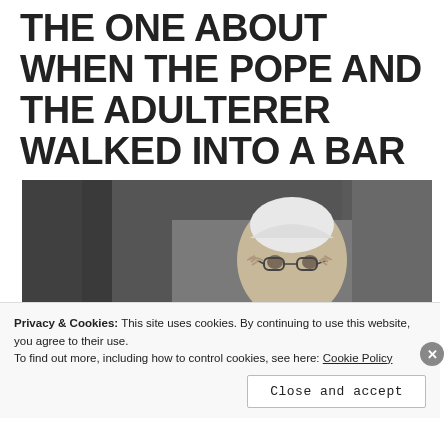THE ONE ABOUT WHEN THE POPE AND THE ADULTERER WALKED INTO A BAR
[Figure (photo): Black and white photograph of Pope Francis adjusting his glasses with both hands, wearing white papal vestments and a zucchetto (skullcap), with a dark background]
Privacy & Cookies: This site uses cookies. By continuing to use this website, you agree to their use.
To find out more, including how to control cookies, see here: Cookie Policy
Close and accept